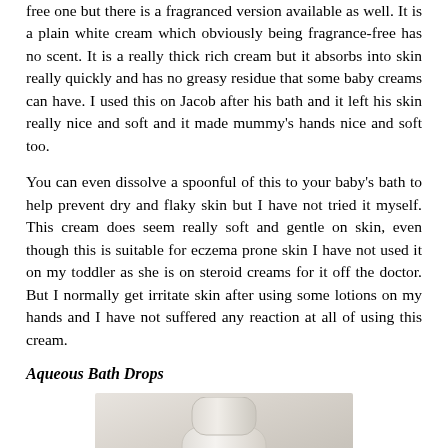free one but there is a fragranced version available as well. It is a plain white cream which obviously being fragrance-free has no scent. It is a really thick rich cream but it absorbs into skin really quickly and has no greasy residue that some baby creams can have. I used this on Jacob after his bath and it left his skin really nice and soft and it made mummy's hands nice and soft too.
You can even dissolve a spoonful of this to your baby's bath to help prevent dry and flaky skin but I have not tried it myself. This cream does seem really soft and gentle on skin, even though this is suitable for eczema prone skin I have not used it on my toddler as she is on steroid creams for it off the doctor. But I normally get irritate skin after using some lotions on my hands and I have not suffered any reaction at all of using this cream.
Aqueous Bath Drops
[Figure (photo): Photo of a white cream/lotion bottle or container, partially visible, against a light grey/beige background]